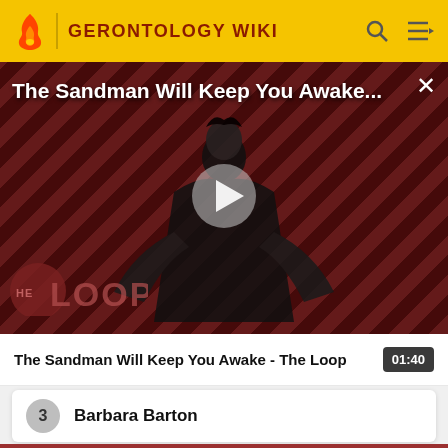GERONTOLOGY WIKI
The Sandman Will Keep You Awake...
[Figure (screenshot): Video player showing The Sandman Will Keep You Awake - The Loop with a play button overlay and The Loop logo in the bottom left. The background shows diagonal red and black stripes with a figure in black.]
The Sandman Will Keep You Awake - The Loop  01:40
3  Barbara Barton